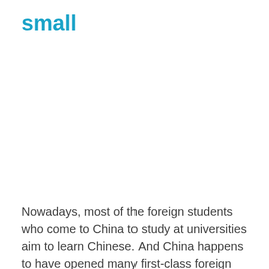small
Nowadays, most of the foreign students who come to China to study at universities aim to learn Chinese. And China happens to have opened many first-class foreign language colleges, so